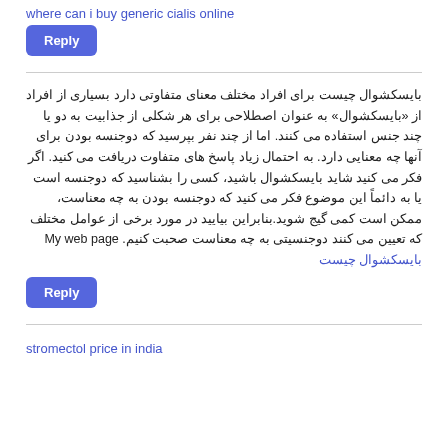where can i buy generic cialis online
Reply
بایسکشوال چیست برای افراد مختلف معنای متفاوتی دارد بسیاری از افراد از «بایسکشوال» به عنوان اصطلاحی برای هر شکلی از جذابیت به دو یا چند جنس استفاده می کنند. اما از چند نفر بپرسید که دوجنسه بودن برای آنها چه معنایی دارد. به احتمال زیاد پاسخ های متفاوت دریافت می کنید. اگر فکر می کنید شاید بایسکشوال باشید، کسی را بشناسید که دوجنسه است یا به دائماً این موضوع فکر می کنید که دوجنسه بودن به چه معناست، ممکن است کمی گیج شوید.بنابراین بیایید در مورد برخی از عوامل مختلف که تعیین می کنند دوجنسیتی به چه معناست صحبت کنیم. My web page بایسکشوال چیست
Reply
stromectol price in india